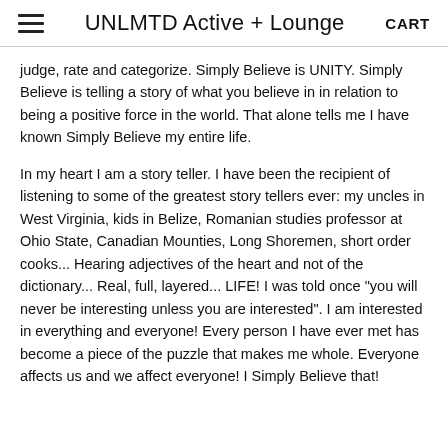UNLMTD Active + Lounge  CART
judge, rate and categorize. Simply Believe is UNITY. Simply Believe is telling a story of what you believe in in relation to being a positive force in the world. That alone tells me I have known Simply Believe my entire life.
In my heart I am a story teller. I have been the recipient of listening to some of the greatest story tellers ever: my uncles in West Virginia, kids in Belize, Romanian studies professor at Ohio State, Canadian Mounties, Long Shoremen, short order cooks... Hearing adjectives of the heart and not of the dictionary... Real, full, layered... LIFE! I was told once "you will never be interesting unless you are interested". I am interested in everything and everyone! Every person I have ever met has become a piece of the puzzle that makes me whole. Everyone affects us and we affect everyone! I Simply Believe that!